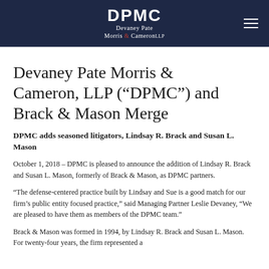DPMC — Devaney Pate Morris & Cameron LLP
Devaney Pate Morris & Cameron, LLP (“DPMC”) and Brack & Mason Merge
DPMC adds seasoned litigators, Lindsay R. Brack and Susan L. Mason
October 1, 2018 – DPMC is pleased to announce the addition of Lindsay R. Brack and Susan L. Mason, formerly of Brack & Mason, as DPMC partners.
“The defense-centered practice built by Lindsay and Sue is a good match for our firm’s public entity focused practice,” said Managing Partner Leslie Devaney, “We are pleased to have them as members of the DPMC team.”
Brack & Mason was formed in 1994, by Lindsay R. Brack and Susan L. Mason.  For twenty-four years, the firm represented a